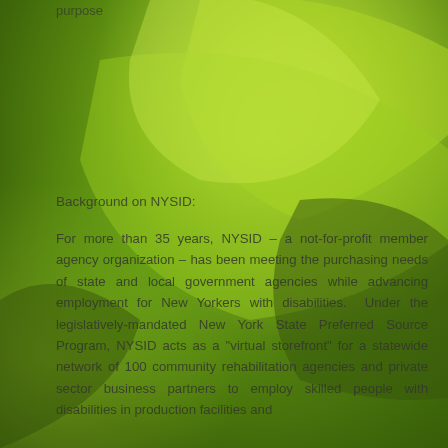purpose
[Figure (photo): Blurred green leaves background filling the entire page with bright lime and dark green tones]
Background on NYSID:
For more than 35 years, NYSID – a not-for-profit member agency organization – has been meeting the purchasing needs of state and local government agencies while advancing employment for New Yorkers with disabilities. Under the legislatively-mandated New York State Preferred Source Program, NYSID acts as a "virtual storefront" for a statewide network of 100 community rehabilitation agencies and private sector business partners to employ skilled people with disabilities in production facilities and